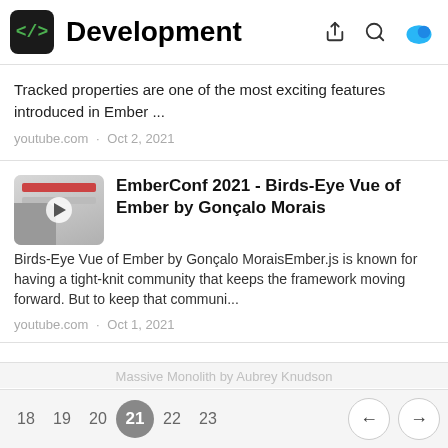Development
Tracked properties are one of the most exciting features introduced in Ember ...
youtube.com · Oct 2, 2021
EmberConf 2021 - Birds-Eye Vue of Ember by Gonçalo Morais
Birds-Eye Vue of Ember by Gonçalo MoraisEmber.js is known for having a tight-knit community that keeps the framework moving forward. But to keep that communi...
youtube.com · Oct 1, 2021
18  19  20  21  22  23  ←  →